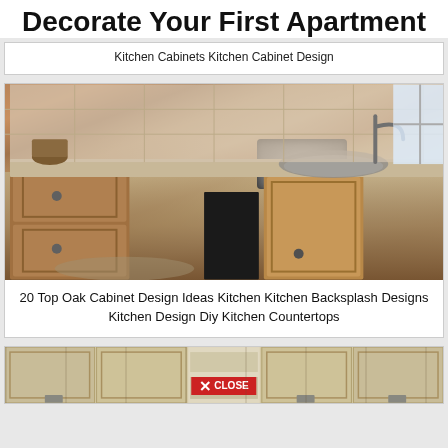Decorate Your First Apartment
Kitchen Cabinets Kitchen Cabinet Design
[Figure (photo): Kitchen with oak cabinets, granite countertops with a sink, and tile backsplash]
20 Top Oak Cabinet Design Ideas Kitchen Kitchen Backsplash Designs Kitchen Design Diy Kitchen Countertops
[Figure (photo): Light wood kitchen cabinets with a close button overlay at the bottom]